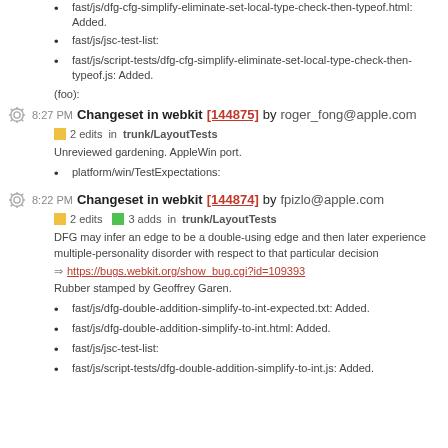fast/js/dfg-cfg-simplify-eliminate-set-local-type-check-then-typeof.html: Added.
fast/js/jsc-test-list:
fast/js/script-tests/dfg-cfg-simplify-eliminate-set-local-type-check-then-typeof.js: Added.
(foo):
8:27 PM Changeset in webkit [144875] by roger_fong@apple.com
2 edits in trunk/LayoutTests
Unreviewed gardening. AppleWin port.
platform/win/TestExpectations:
8:22 PM Changeset in webkit [144874] by fpizlo@apple.com
2 edits 3 adds in trunk/LayoutTests
DFG may infer an edge to be a double-using edge and then later experience multiple-personality disorder with respect to that particular decision
https://bugs.webkit.org/show_bug.cgi?id=109393
Rubber stamped by Geoffrey Garen.
fast/js/dfg-double-addition-simplify-to-int-expected.txt: Added.
fast/js/dfg-double-addition-simplify-to-int.html: Added.
fast/js/jsc-test-list:
fast/js/script-tests/dfg-double-addition-simplify-to-int.js: Added.